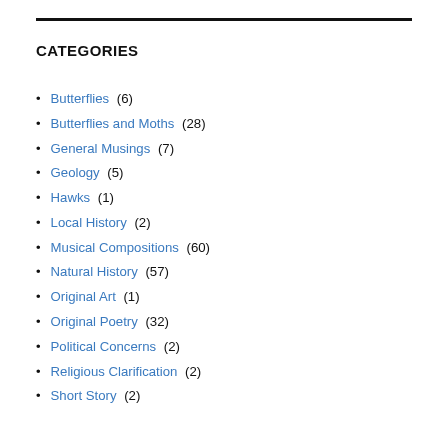CATEGORIES
Butterflies (6)
Butterflies and Moths (28)
General Musings (7)
Geology (5)
Hawks (1)
Local History (2)
Musical Compositions (60)
Natural History (57)
Original Art (1)
Original Poetry (32)
Political Concerns (2)
Religious Clarification (2)
Short Story (2)